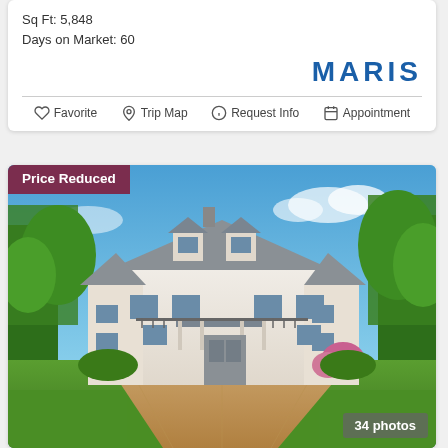Sq Ft: 5,848
Days on Market: 60
[Figure (logo): MARIS real estate logo in bold blue text]
Favorite   Trip Map   Request Info   Appointment
[Figure (photo): Exterior photo of a large Colonial-style white home with dormers, a metal roof portico, brick driveway, lush green lawn, and mature trees. A 'Price Reduced' badge is overlaid in the top-left corner and '34 photos' badge in the bottom-right corner.]